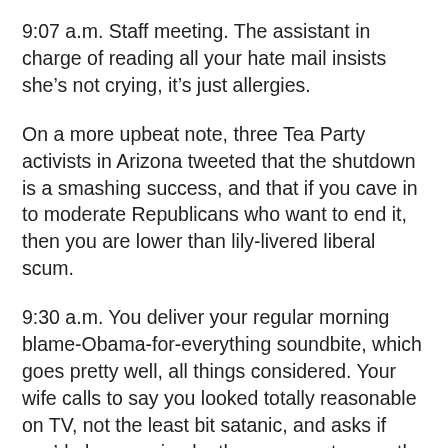9:07 a.m. Staff meeting. The assistant in charge of reading all your hate mail insists she's not crying, it's just allergies.
On a more upbeat note, three Tea Party activists in Arizona tweeted that the shutdown is a smashing success, and that if you cave in to moderate Republicans who want to end it, then you are lower than lily-livered liberal scum.
9:30 a.m. You deliver your regular morning blame-Obama-for-everything soundbite, which goes pretty well, all things considered. Your wife calls to say you looked totally reasonable on TV, not the least bit satanic, and asks if you'd please swing by the grocery store on the way home.
10:46 a.m. Fox News wants to interview you about the 800,000-plus federal workers being laid off. How are they supposed to pay their mortgages, keep up their car